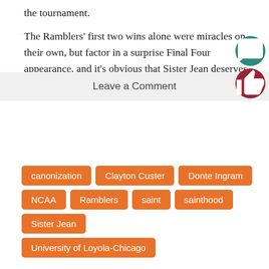the tournament.
The Ramblers' first two wins alone were miracles on their own, but factor in a surprise Final Four appearance, and it's obvious that Sister Jean deserves to become a saint.
canonization
Clayton Custer
Donte Ingram
NCAA
Ramblers
saint
sainthood
Sister Jean
University of Loyola-Chicago
Leave a Comment